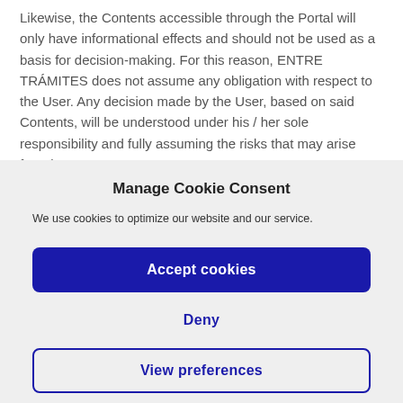Likewise, the Contents accessible through the Portal will only have informational effects and should not be used as a basis for decision-making. For this reason, ENTRE TRÁMITES does not assume any obligation with respect to the User. Any decision made by the User, based on said Contents, will be understood under his / her sole responsibility and fully assuming the risks that may arise from it.
Manage Cookie Consent
We use cookies to optimize our website and our service.
Accept cookies
Deny
View preferences